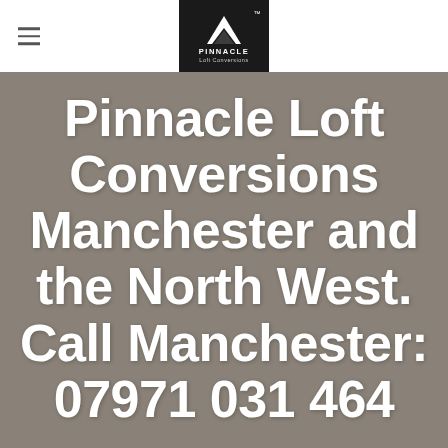[Figure (logo): Pinnacle Loft Conversions logo — black background with white triangle/pyramid icon, 'PINNACLE' text and 'Loft Conversions' subtitle, with TM mark]
Pinnacle Loft Conversions Manchester and the North West. Call Manchester: 07971 031 464